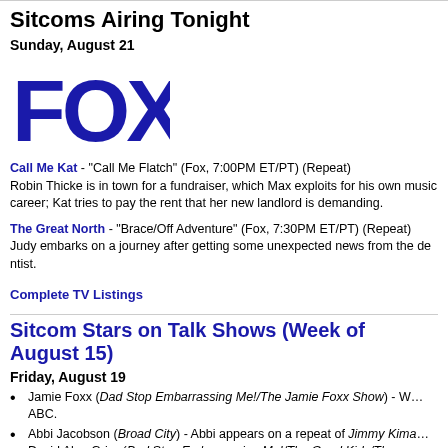Sitcoms Airing Tonight
Sunday, August 21
[Figure (logo): FOX network logo in dark blue bold text]
Call Me Kat - "Call Me Flatch" (Fox, 7:00PM ET/PT) (Repeat)
Robin Thicke is in town for a fundraiser, which Max exploits for his own music career; Kat tries to pay the rent that her new landlord is demanding.
The Great North - "Brace/Off Adventure" (Fox, 7:30PM ET/PT) (Repeat)
Judy embarks on a journey after getting some unexpected news from the dentist.
Complete TV Listings
Sitcom Stars on Talk Shows (Week of August 15)
Friday, August 19
Jamie Foxx (Dad Stop Embarrassing Me!/The Jamie Foxx Show) - W... ABC.
Abbi Jacobson (Broad City) - Abbi appears on a repeat of Jimmy Kima... David Alan Grier (Bad Stop Embarrassing Me!/The Good Kids/The...